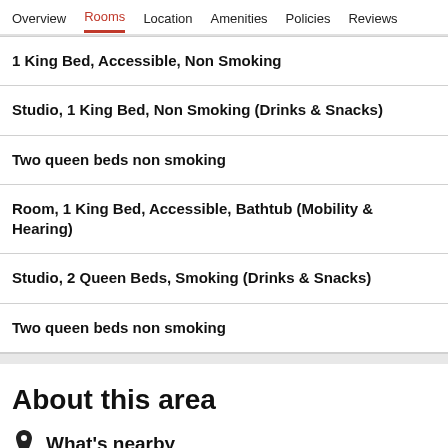Overview  Rooms  Location  Amenities  Policies  Reviews
1 King Bed, Accessible, Non Smoking
Studio, 1 King Bed, Non Smoking (Drinks & Snacks)
Two queen beds non smoking
Room, 1 King Bed, Accessible, Bathtub (Mobility & Hearing)
Studio, 2 Queen Beds, Smoking (Drinks & Snacks)
Two queen beds non smoking
About this area
What's nearby